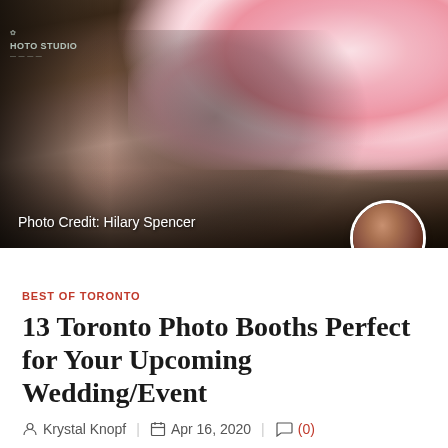[Figure (photo): Two people holding a dark picture frame in front of a floral backdrop wall. The man wears a black firefighter hat and dark clothing; the woman has long blonde hair. A Photo Studio sign is visible in the upper left background.]
Photo Credit: Hilary Spencer
BEST OF TORONTO
13 Toronto Photo Booths Perfect for Your Upcoming Wedding/Event
Krystal Knopf  |  Apr 16, 2020  |  (0)
There's nothing like a good photo booth to add some fun, originality and creativity to your wedding or special event! Photo booths